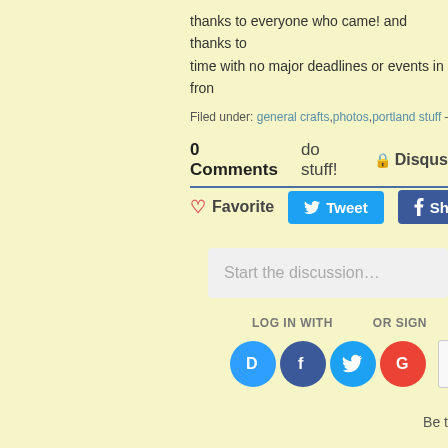thanks to everyone who came!  and thanks to time with no major deadlines or events in fron
Filed under: general crafts,photos,portland stuff — leethal @
0 Comments   do stuff!   🔒 Disqus
♡ Favorite   Tweet   Share
Start the discussion…
LOG IN WITH   OR SIGN
[Figure (other): Social login icons: Disqus (D), Facebook (f), Twitter bird, Google (G) circles, and a Name input field]
Be t